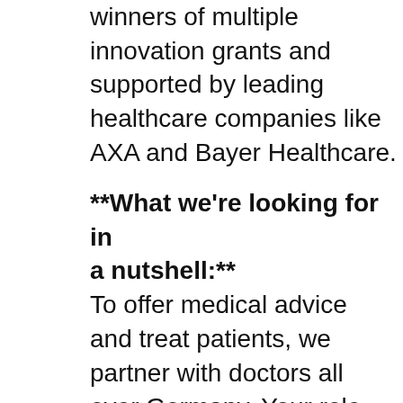Ventures Accelerator, winners of multiple innovation grants and supported by leading healthcare companies like AXA and Bayer Healthcare.
**What we're looking for in a nutshell:** To offer medical advice and treat patients, we partner with doctors all over Germany. Your role will be finding and acquiring these doctors for our doctor network, managing them and acting as the primary contact person for our partnerships.